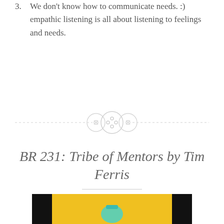We don't know how to communicate needs. :) empathic listening is all about listening to feelings and needs.
[Figure (illustration): Decorative section divider with three circular button-like icons and dashed horizontal line]
BR 231: Tribe of Mentors by Tim Ferris
December 13, 2018
[Figure (photo): Partial book cover image showing black and yellow design with a small illustration, cropped at bottom of page]